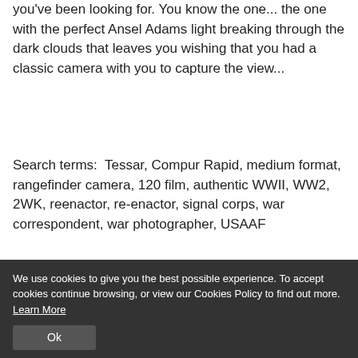you've been looking for. You know the one... the one with the perfect Ansel Adams light breaking through the dark clouds that leaves you wishing that you had a classic camera with you to capture the view...
Search terms:  Tessar, Compur Rapid, medium format, rangefinder camera, 120 film, authentic WWII, WW2, 2WK, reenactor, re-enactor, signal corps, war correspondent, war photographer, USAAF
We use cookies to give you the best possible experience. To accept cookies continue browsing, or view our Cookies Policy to find out more. Learn More
Ok